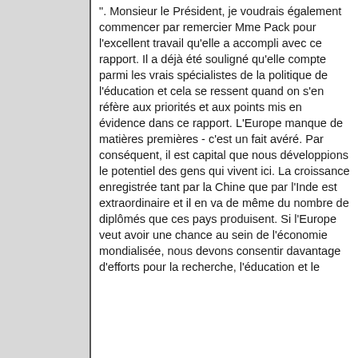". Monsieur le Président, je voudrais également commencer par remercier Mme Pack pour l'excellent travail qu'elle a accompli avec ce rapport. Il a déjà été souligné qu'elle compte parmi les vrais spécialistes de la politique de l'éducation et cela se ressent quand on s'en réfère aux priorités et aux points mis en évidence dans ce rapport. L'Europe manque de matières premières - c'est un fait avéré. Par conséquent, il est capital que nous développions le potentiel des gens qui vivent ici. La croissance enregistrée tant par la Chine que par l'Inde est extraordinaire et il en va de même du nombre de diplômés que ces pays produisent. Si l'Europe veut avoir une chance au sein de l'économie mondialisée, nous devons consentir davantage d'efforts pour la recherche, l'éducation et le